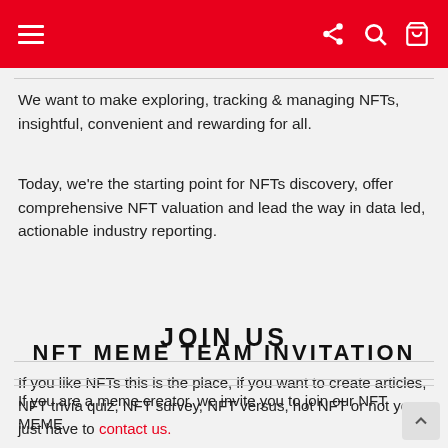Navigation bar with hamburger menu, share, search, and cart icons
We want to make exploring, tracking & managing NFTs, insightful, convenient and rewarding for all.
Today, we're the starting point for NFTs discovery, offer comprehensive NFT valuation and lead the way in data led, actionable industry reporting.
JOIN US
If you like NFTs this is the place, if you want to create articles, NFT trivia quiz, NFT survey, NFT versus, hot NFT or not you just have to contact us.
NFT MEME TEAM INVITATION
If you are a meme creator, we invite you to join our NFT MEME